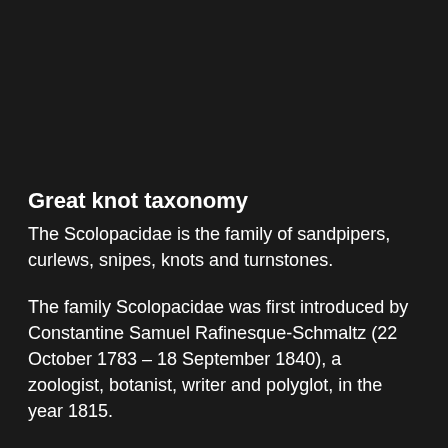Great knot taxonomy
The Scolopacidae is the family of sandpipers, curlews, snipes, knots and turnstones.
The family Scolopacidae was first introduced by Constantine Samuel Rafinesque-Schmaltz (22 October 1783 – 18 September 1840), a zoologist, botanist, writer and polyglot, in the year 1815.